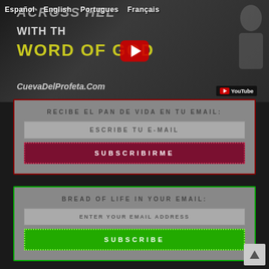Español   English   Portugues   Français
[Figure (screenshot): YouTube video thumbnail showing text 'ACROSS HELL WITH THE WORD OF GOD' and CuevaDelProfeta.Com branding with a YouTube play button]
RECIBE EL PAN DE VIDA EN TU EMAIL:
ESCRIBE TU E-MAIL
SUBSCRIBIRME
BREAD OF LIFE IN YOUR EMAIL:
ENTER YOUR EMAIL ADDRESS
SUBSCRIBE